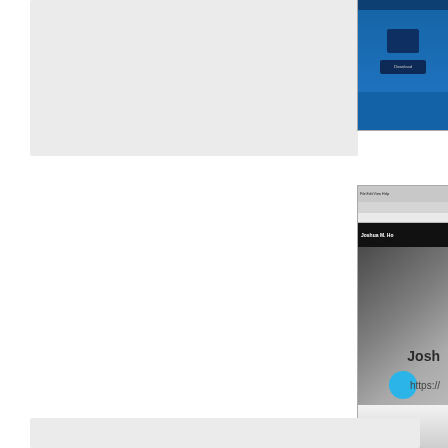[Figure (screenshot): Partial screenshot of a website with blue background and shield/button elements, cropped at the top-right of the page]
[Figure (screenshot): Screenshot of a software profile page showing 'Joshua M. H...' with a dark profile bar, product/bag image, a circular blue icon, and a person photo at the bottom]
Josh
https://